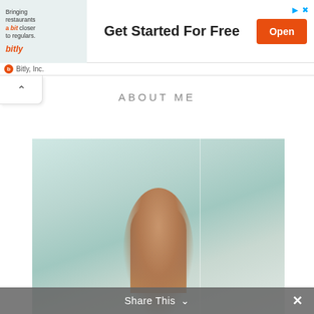[Figure (screenshot): Bitly advertisement banner showing 'Bringing restaurants a bit closer to regulars.' with QR code phone image, 'Get Started For Free' headline, and orange 'Open' button. Ad attribution shows Bitly, Inc. logo.]
[Figure (photo): Photo of a woman with reddish-brown hair against a blurred light green/teal background with a vertical divider line. The photo is partially visible, cut off at the bottom.]
ABOUT ME
Share This